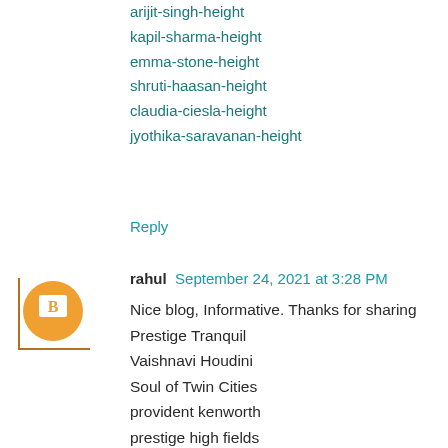arijit-singh-height
kapil-sharma-height
emma-stone-height
shruti-haasan-height
claudia-ciesla-height
jyothika-saravanan-height
Reply
rahul  September 24, 2021 at 3:28 PM
Nice blog, Informative. Thanks for sharing
Prestige Tranquil
Vaishnavi Houdini
Soul of Twin Cities
provident kenworth
prestige high fields
Frontline Seven
Urbanrise Codename Talk Of Hyderabad
Reply